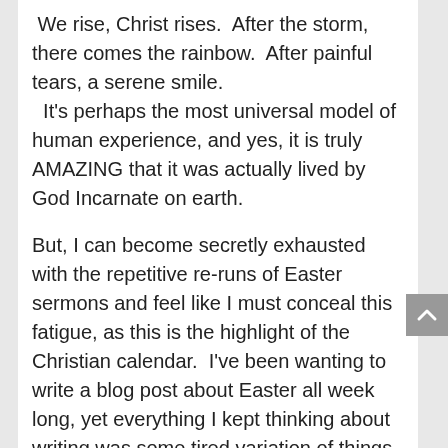We rise, Christ rises.  After the storm, there comes the rainbow.  After painful tears, a serene smile.  It's perhaps the most universal model of human experience, and yes, it is truly AMAZING that it was actually lived by God Incarnate on earth.
But, I can become secretly exhausted with the repetitive re-runs of Easter sermons and feel like I must conceal this fatigue, as this is the highlight of the Christian calendar.  I've been wanting to write a blog post about Easter all week long, yet everything I kept thinking about writing was some tired variation of things I've already written.  So I needed a new spin on it.  And instead of sharing only my new spin, I began with the process of arriving here: